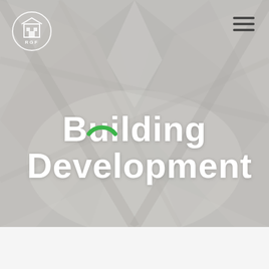[Figure (logo): Circular logo with building/architecture icon and text 'RGF' in white on a dark circular background]
[Figure (illustration): Hamburger menu icon (three horizontal lines) in dark color, top right corner]
[Figure (photo): Full-width hero background photo of architectural wooden structure or building materials, desaturated gray tone]
Building Development